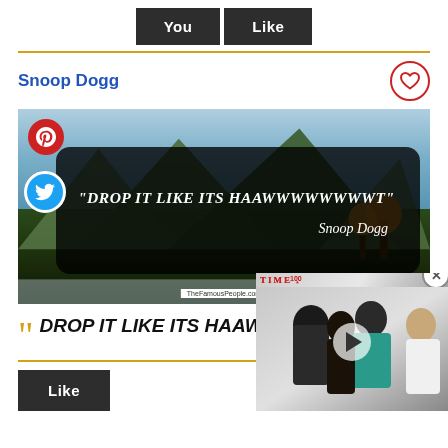[Figure (screenshot): Two dark buttons labeled 'You' and 'Like' side by side on white background]
Snoop Dogg
[Figure (illustration): Snoop Dogg quote image with dark overlay box on nature background. Pinterest and Twitter share icons visible. Quote reads: "DROP IT LIKE ITS HAAWWWWWWWWT" attributed to Snoop Dogg. TheFamousPeople.com watermark at bottom.]
““ DROP IT LIKE ITS HAAWWWWWWWT ””
[Figure (screenshot): TIME video overlay showing three women, with a play button in the center and a close X button. TIME logo visible top left.]
Like